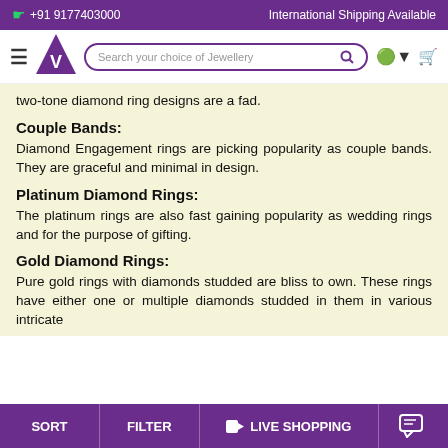+91 9177403000   International Shipping Available
[Figure (logo): Website navigation bar with logo (purple triangle with V), search bar, currency and cart icons]
two-tone diamond ring designs are a fad.
Couple Bands:
Diamond Engagement rings are picking popularity as couple bands. They are graceful and minimal in design.
Platinum Diamond Rings:
The platinum rings are also fast gaining popularity as wedding rings and for the purpose of gifting.
Gold Diamond Rings:
Pure gold rings with diamonds studded are bliss to own. These rings have either one or multiple diamonds studded in them in various intricate
SORT   FILTER   LIVE SHOPPING   [chat icon]